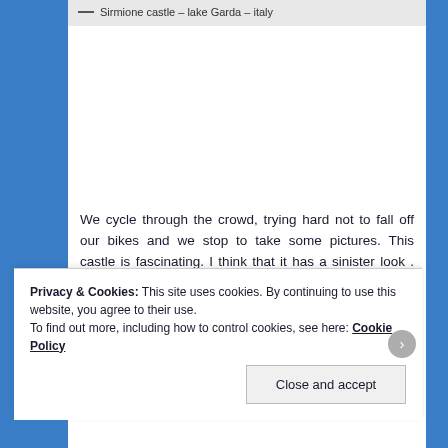— Sirmione castle – lake Garda – italy
We cycle through the crowd, trying hard not to fall off our bikes and we stop to take some pictures. This castle is fascinating. I think that it has a sinister look . When I get home in the afternoon , I find a legend associated with it : " In the castle a long time ago there lived a happy married couple : the beautiful Arice and Ebengardo . During a dark and stormy night , a man knocked at the door of the castle
Privacy & Cookies: This site uses cookies. By continuing to use this website, you agree to their use.
To find out more, including how to control cookies, see here: Cookie Policy

Close and accept